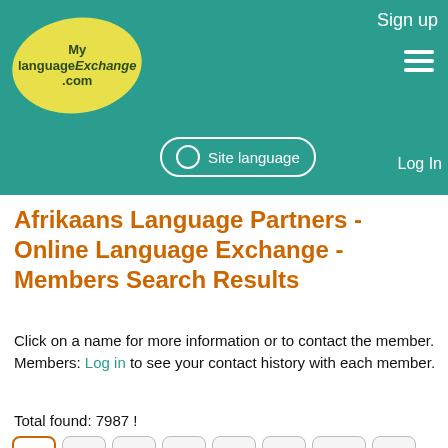[Figure (screenshot): MyLanguageExchange.com website header with teal background, yellow oval logo, Site language button, Log In link, Sign up text, and hamburger menu icon]
Afrikaans Language Partners - Online Language Exchange - Members Search Results
Click on a name for more information or to contact the member.
Members: Log in to see your contact history with each member.
Total found: 7987 !
1  2  3  4  5  6  799  →
10 rows/page.  Go to:  Page #  Go
| Name |
| --- |